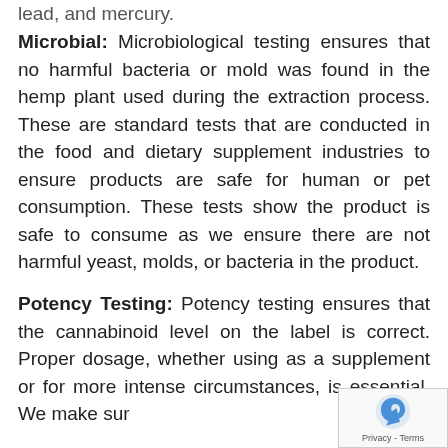lead, and mercury.
Microbial: Microbiological testing ensures that no harmful bacteria or mold was found in the hemp plant used during the extraction process. These are standard tests that are conducted in the food and dietary supplement industries to ensure products are safe for human or pet consumption. These tests show the product is safe to consume as we ensure there are not harmful yeast, molds, or bacteria in the product.
Potency Testing: Potency testing ensures that the cannabinoid level on the label is correct. Proper dosage, whether using as a supplement or for more intense circumstances, is essential. We make sure